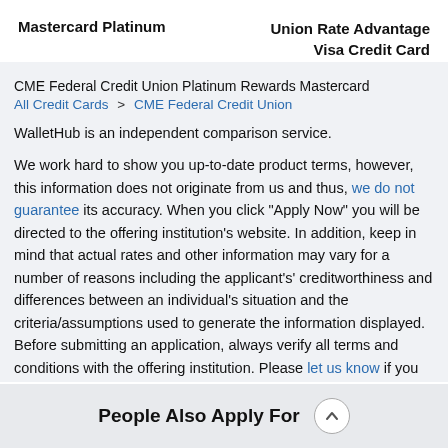Mastercard Platinum | Union Rate Advantage Visa Credit Card
CME Federal Credit Union Platinum Rewards Mastercard
All Credit Cards > CME Federal Credit Union
WalletHub is an independent comparison service.
We work hard to show you up-to-date product terms, however, this information does not originate from us and thus, we do not guarantee its accuracy. When you click "Apply Now" you will be directed to the offering institution's website. In addition, keep in mind that actual rates and other information may vary for a number of reasons including the applicant's' creditworthiness and differences between an individual's situation and the criteria/assumptions used to generate the information displayed. Before submitting an application, always verify all terms and conditions with the offering institution. Please let us know if you notice any
People Also Apply For